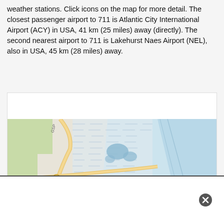weather stations. Click icons on the map for more detail. The closest passenger airport to 711 is Atlantic City International Airport (ACY) in USA, 41 km (25 miles) away (directly). The second nearest airport to 711 is Lakehurst Naes Airport (NEL), also in USA, 45 km (28 miles) away.
[Figure (map): Map showing Stafford, Eagleswood Harbor, Long Beach, Surf City area in New Jersey coastal region. Features GSP highway, road intersections, wetlands/marshes depicted in light blue hatching, bay/ocean water. A MAP icon overlay appears in center-bottom area of map.]